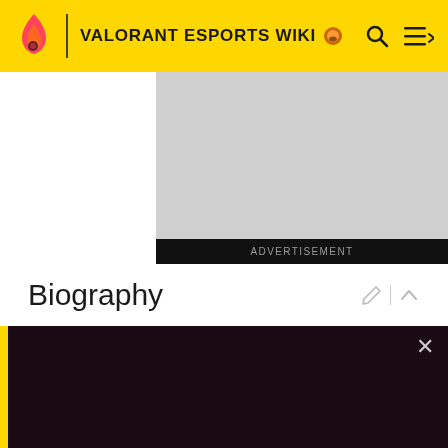VALORANT ESPORTS WIKI
[Figure (screenshot): Advertisement placeholder block with dark bar showing 'ADVERTISEMENT' label]
Biography
Trivia
Tournament Results
[Figure (screenshot): Dark popup overlay with yellow left bar and close X button]